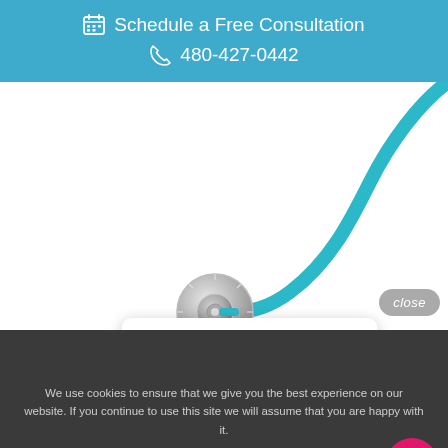Schedule a Free Consultation  480-427-0442
[Figure (photo): A blue stethoscope with the chest piece visible, curving across a white background.]
close
Hello! Do you have any questions that I can help with?
We use cookies to ensure that we give you the best experience on our website. If you continue to use this site we will assume that you are happy with it.
Ok